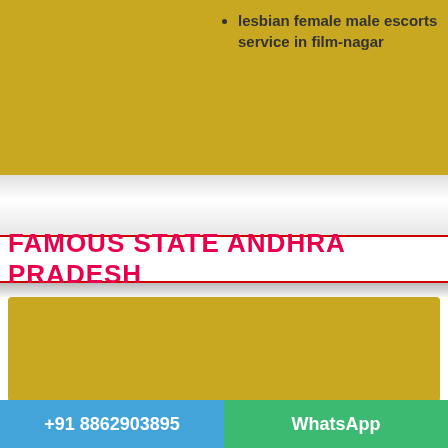lesbian female male escorts service in film-nagar
FAMOUS STATE ANDHRA PRADESH
+91 8862903895
WhatsApp